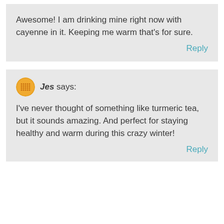Awesome! I am drinking mine right now with cayenne in it. Keeping me warm that's for sure.
Reply
Jes says:
I've never thought of something like turmeric tea, but it sounds amazing. And perfect for staying healthy and warm during this crazy winter!
Reply